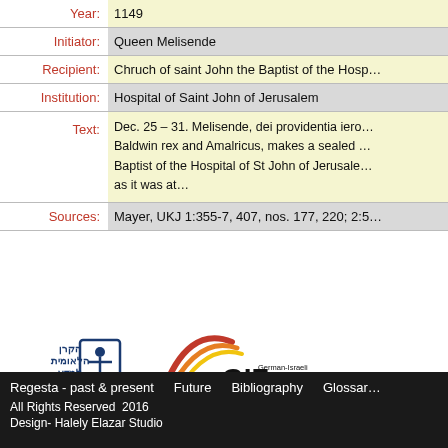| Field | Value |
| --- | --- |
| Year: | 1149 |
| Initiator: | Queen Melisende |
| Recipient: | Chruch of saint John the Baptist of the Hosp... |
| Institution: | Hospital of Saint John of Jerusalem |
| Text: | Dec. 25 – 31. Melisende, dei providentia iero... Baldwin rex and Amalricus, makes a sealed ... Baptist of the Hospital of St John of Jerusale... as it was at... |
| Sources: | Mayer, UKJ 1:355-7, 407, nos. 177, 220; 2:5... |
[Figure (logo): Israel Science Foundation logo (ISF) with Hebrew text and human figure icon, and GIF German-Israeli Foundation for Scientific Research and Development logo]
Regesta - past & present   Future   Bibliography   Glossar...
All Rights Reserved  2016
Design- Halely Elazar Studio